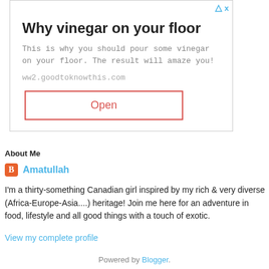[Figure (other): Advertisement box with title 'Why vinegar on your floor', body text about pouring vinegar on floor, URL ww2.goodtoknowthis.com, and an Open button with red border.]
About Me
Amatullah
I'm a thirty-something Canadian girl inspired by my rich & very diverse (Africa-Europe-Asia....) heritage! Join me here for an adventure in food, lifestyle and all good things with a touch of exotic.
View my complete profile
Powered by Blogger.